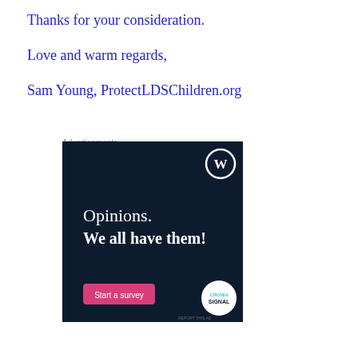Thanks for your consideration.
Love and warm regards,
Sam Young,  ProtectLDSChildren.org
Advertisements
[Figure (illustration): WordPress/CrowdSignal advertisement with dark navy background. Shows WordPress logo (W in circle) in top right. Text reads 'Opinions. We all have them!' with a pink 'Start a survey' button and CrowdSignal logo circle in bottom right.]